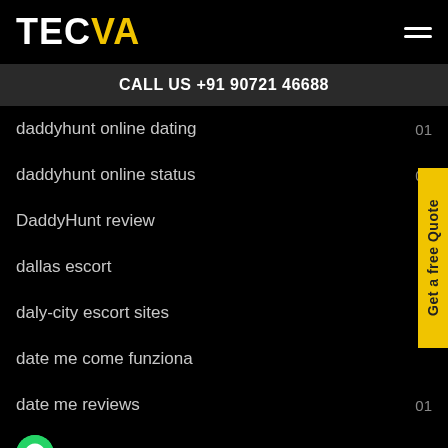TECVA
CALL US +91 90721 46688
daddyhunt online dating  01
daddyhunt online status  01
DaddyHunt review  01
dallas escort
daly-city escort sites
date me come funziona
date me reviews  01
date visitors  01
Date Sincerely over here  01
Get a free Quote